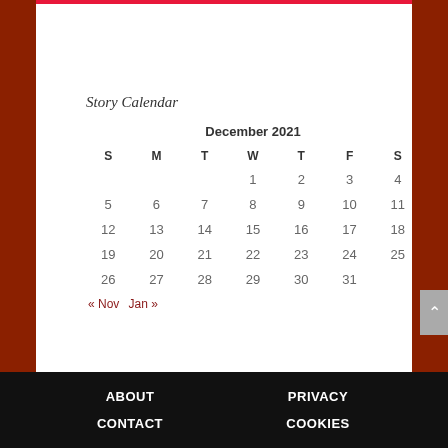Story Calendar
| S | M | T | W | T | F | S |
| --- | --- | --- | --- | --- | --- | --- |
|  |  |  | 1 | 2 | 3 | 4 |
| 5 | 6 | 7 | 8 | 9 | 10 | 11 |
| 12 | 13 | 14 | 15 | 16 | 17 | 18 |
| 19 | 20 | 21 | 22 | 23 | 24 | 25 |
| 26 | 27 | 28 | 29 | 30 | 31 |  |
« Nov   Jan »
ABOUT   PRIVACY   CONTACT   COOKIES